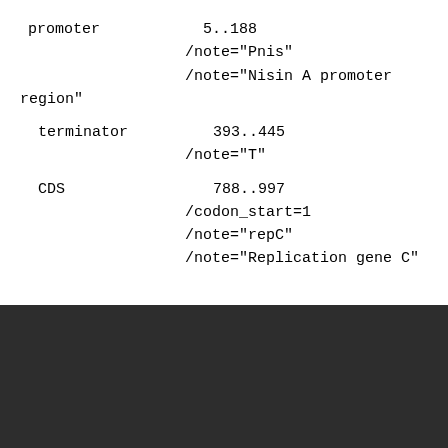promoter    5..188
    /note="Pnis"
    /note="Nisin A promoter region"
terminator    393..445
    /note="T"
CDS    788..997
    /codon_start=1
    /note="repC"
    /note="Replication gene C"
This website requires cookies, and the limited processing of your personal data in order to function. By using the site you are agreeing to this as outlined in our Privacy Notice and Terms of Use.
I agree, dismiss this banner
MGGKEANFASVLRPP1KCRVPIFVPKTLYPNWLKGL
PTFSPTFFINLYLSSFIFVFMITK"
1266..1964
    /codon_start=1